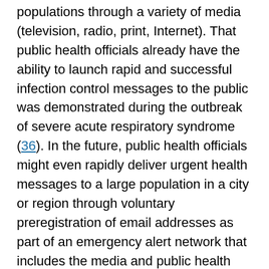populations through a variety of media (television, radio, print, Internet). That public health officials already have the ability to launch rapid and successful infection control messages to the public was demonstrated during the outbreak of severe acute respiratory syndrome (36). In the future, public health officials might even rapidly deliver urgent health messages to a large population in a city or region through voluntary preregistration of email addresses as part of an emergency alert network that includes the media and public health officials. At the first appearance of evidence of an E. coli O157 outbreak, a message with clear instructions could be distributed to thousands or tens of thousands people at risk locally, regionally, or nationally, and to specific subgroups at high risk, such as the young, the elderly, or the immunocompromised.